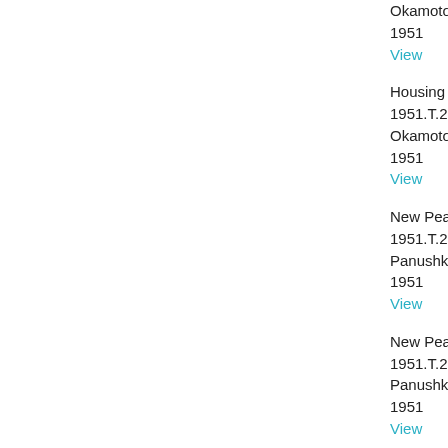Okamoto, Rai Y
1951
View
Housing Projec
1951.T.228
Okamoto, Rai Y
1951
View
New Peabody M
1951.T.229
Panushka, Don
1951
View
New Peabody M
1951.T.230
Panushka, Don
1951
View
New Peabody M
1951.T.231
Panushka, Don